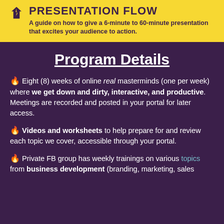[Figure (infographic): Yellow banner header with a logo icon, title 'PRESENTATION FLOW' and subtitle text.]
Program Details
🔥 Eight (8) weeks of online real masterminds (one per week) where we get down and dirty, interactive, and productive. Meetings are recorded and posted in your portal for later access.
🔥 Videos and worksheets to help prepare for and review each topic we cover, accessible through your portal.
🔥 Private FB group has weekly trainings on various topics from business development (branding, marketing, sales